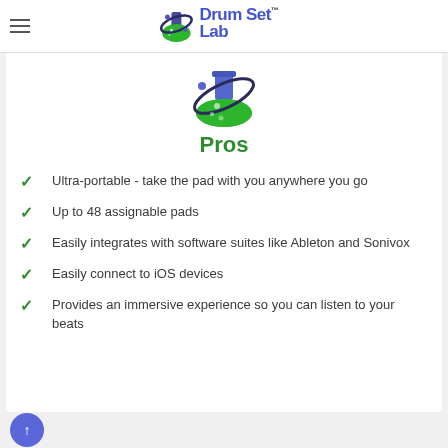Drum Set Lab
[Figure (logo): Drum Set Lab logo with green flask/beaker icon and blue/purple text reading 'Drum Set Lab' with TM mark]
Pros
Ultra-portable - take the pad with you anywhere you go
Up to 48 assignable pads
Easily integrates with software suites like Ableton and Sonivox
Easily connect to iOS devices
Provides an immersive experience so you can listen to your beats
↑